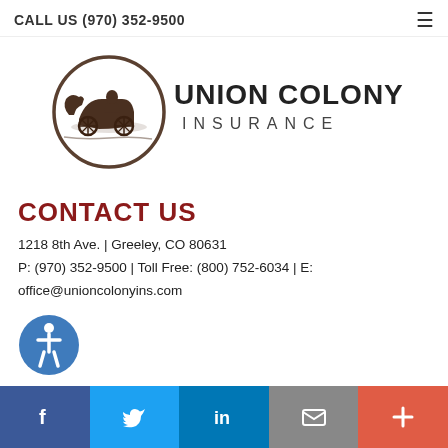CALL US (970) 352-9500
[Figure (logo): Union Colony Insurance logo with circular horse-drawn carriage illustration and bold text UNION COLONY INSURANCE]
CONTACT US
1218 8th Ave. | Greeley, CO 80631
P: (970) 352-9500 | Toll Free: (800) 752-6034 | E:
office@unioncolonyins.com
[Figure (illustration): Accessibility icon - blue circular icon with person symbol]
Social media bar: Facebook, Twitter, LinkedIn, Email, More